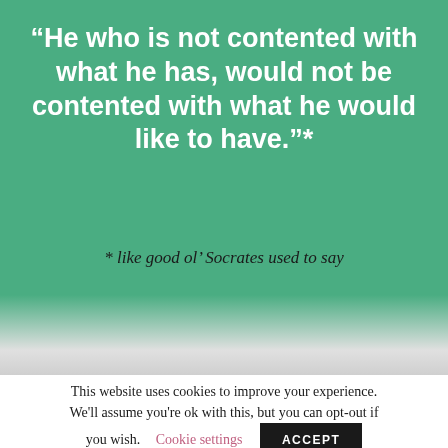“He who is not contented with what he has, would not be contented with what he would like to have.”*
* like good ol’ Socrates used to say
This website uses cookies to improve your experience. We'll assume you're ok with this, but you can opt-out if you wish.
Cookie settings
ACCEPT